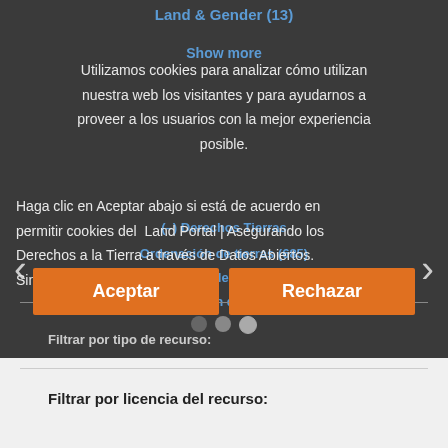Land & Gender (13)
Show more
(–) Derechos/Tierras
Ordenación de tierras (685)
Gobernanza de la tierra (214)
Administración de tierras (165)
Mercado de tierras (70)
Utilizamos cookies para analizar cómo utilizan nuestra web los visitantes y para ayudarnos a proveer a los usuarios con la mejor experiencia posible. Haga clic en Aceptar abajo si está de acuerdo en permitir cookies del Land Portal | Asegurando los Derechos a la Tierra a través de Datos Abiertos. Sino, haga clic en Rechazar.
Filtrar por tipo de recurso:
Aceptar
Rechazar
Filtrar por licencia del recurso: